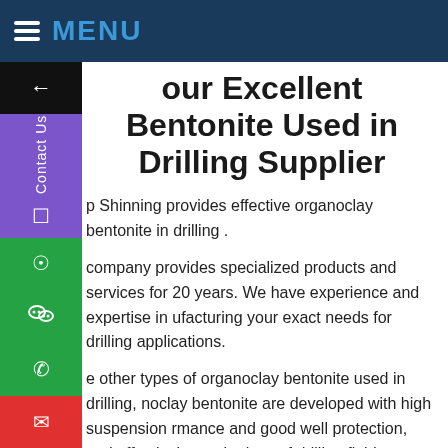MENU
Your Excellent Bentonite Used in Drilling Supplier
Zhepo Shinning provides effective organoclay bentonite used in drilling .
Our company provides specialized products and services for over 20 years. We have experience and expertise in manufacturing your exact needs for drilling applications.
Unlike other types of organoclay bentonite used in drilling, organoclay bentonite are developed with high suspension performance and good well protection, and effectively prevent the loss of drilling fluid.
A variety of organoclay bentonite used in drilling types are available here, including diesel based organoclay,mineral based organoclay and synthetic oil organoclay. etc. Plus, we also offer custom services for your specific needs in